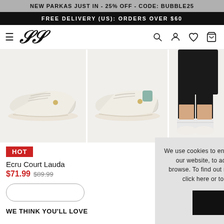NEW PARKAS JUST IN - 25% OFF - CODE: BUBBLE25
FREE DELIVERY (US): ORDERS OVER $60
[Figure (screenshot): Navigation bar with hamburger menu, SikSilk logo, and icons for search, account, wishlist, and cart]
[Figure (photo): Three-panel product image: two views of Ecru Court Lauda sneaker (side and back view), and a third image showing legs wearing black shorts and white sneakers]
HOT
Ecru Court Lauda
$71.99 $89.99
We use cookies to ensure we give you the best experience of our website, to accept click on any link or continue to browse. To find out more about the cookies we use please click here or to view our privacy policy click here
I AGREE
WE THINK YOU'LL LOVE